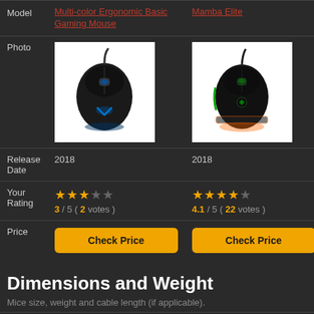|  | Multi-color Ergonomic Basic Gaming Mouse | Mamba Elite |
| --- | --- | --- |
| Model | Multi-color Ergonomic Basic Gaming Mouse | Mamba Elite |
| Photo | [image of gaming mouse] | [image of Mamba Elite mouse] |
| Release Date | 2018 | 2018 |
| Your Rating | 3 / 5 ( 2 votes ) | 4.1 / 5 ( 22 votes ) |
| Price | Check Price | Check Price |
Dimensions and Weight
Mice size, weight and cable length (if applicable).
|  | ~127 mm | ~125 mm |
| --- | --- | --- |
| Length | ~12.7 cm | ~12.5 cm |